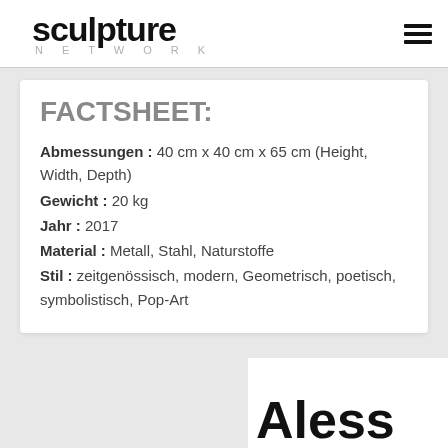sculpture NETWORK
FACTSHEET:
Abmessungen : 40 cm x 40 cm x 65 cm (Height, Width, Depth)
Gewicht : 20 kg
Jahr : 2017
Material : Metall, Stahl, Naturstoffe
Stil : zeitgenössisch, modern, Geometrisch, poetisch, symbolistisch, Pop-Art
Aless